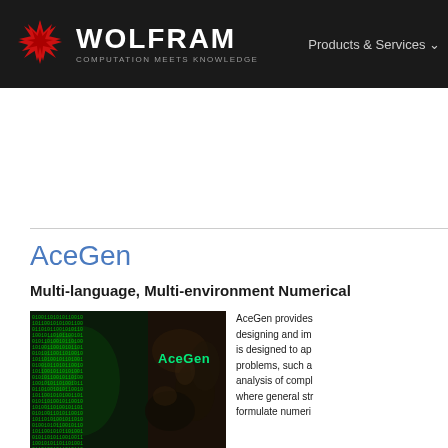WOLFRAM COMPUTATION MEETS KNOWLEDGE — Products & Services
AceGen
Multi-language, Multi-environment Numerical
[Figure (photo): AceGen product image showing green matrix code on left and biological/microstructure image on right with 'AceGen' text overlay]
AceGen provides designing and im is designed to ap problems, such a analysis of compl where general str formulate numeri
AceGen automat procedures. Symbolic derivation of the characteristic quantities vectors, etc.) can erroneously lead to exponential behavior of e The new approach in AceGen avoids this problem by combinir algebraic capabilities of Mathematica: automatic differentiatio